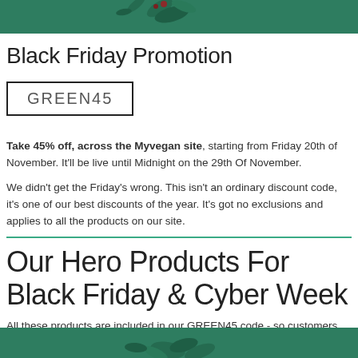[Figure (illustration): Dark green banner with decorative leaf/plant illustrations at the top of the page]
Black Friday Promotion
GREEN45
Take 45% off, across the Myvegan site, starting from Friday 20th of November. It'll be live until Midnight on the 29th Of November.
We didn't get the Friday's wrong. This isn't an ordinary discount code, it's one of our best discounts of the year. It's got no exclusions and applies to all the products on our site.
Our Hero Products For Black Friday & Cyber Week
All these products are included in our GREEN45 code - so customers can take 45% off all these great products.
[Figure (illustration): Dark green banner with decorative leaf/plant illustrations at the bottom of the page]